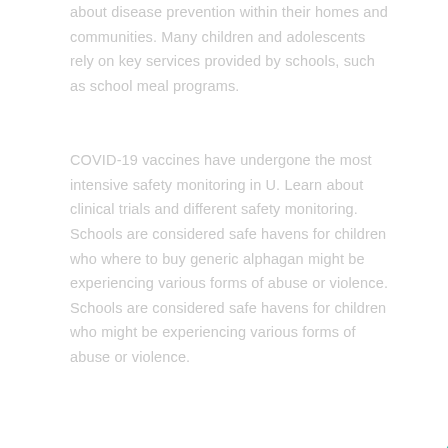about disease prevention within their homes and communities. Many children and adolescents rely on key services provided by schools, such as school meal programs.
COVID-19 vaccines have undergone the most intensive safety monitoring in U. Learn about clinical trials and different safety monitoring. Schools are considered safe havens for children who where to buy generic alphagan might be experiencing various forms of abuse or violence. Schools are considered safe havens for children who might be experiencing various forms of abuse or violence.
[Figure (illustration): A teal/green upward-pointing triangle icon in the bottom right area of the page.]